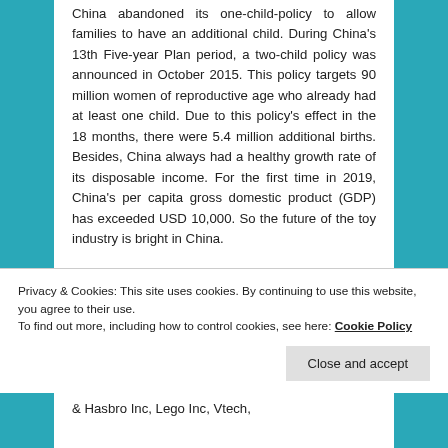China abandoned its one-child-policy to allow families to have an additional child. During China's 13th Five-year Plan period, a two-child policy was announced in October 2015. This policy targets 90 million women of reproductive age who already had at least one child. Due to this policy's effect in the 18 months, there were 5.4 million additional births. Besides, China always had a healthy growth rate of its disposable income. For the first time in 2019, China's per capita gross domestic product (GDP) has exceeded USD 10,000. So the future of the toy industry is bright in China.
China Toy Companies
Key companies are focusing on introducing new products in the market to grow their command in toy sector. N...
Privacy & Cookies: This site uses cookies. By continuing to use this website, you agree to their use.
To find out more, including how to control cookies, see here: Cookie Policy
& Hasbro Inc, Lego Inc, Vtech,